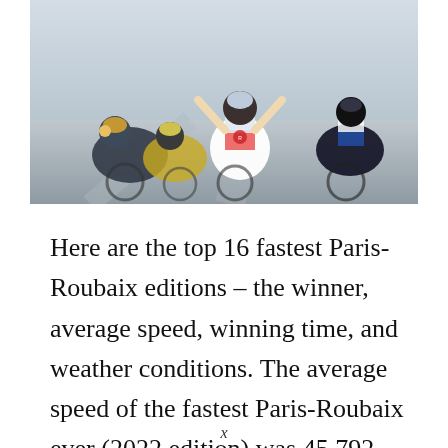[Figure (photo): Cyclists racing at Paris-Roubaix, with the winner raising both arms in victory in the center, wearing a RadioShack jersey. Other riders are around him, some in Astana team colors and others in black and white kits.]
Here are the top 16 fastest Paris-Roubaix editions – the winner, average speed, winning time, and weather conditions. The average speed of the fastest Paris-Roubaix ever (2022 edition) was 45.792 km/h (28.454 mph), won